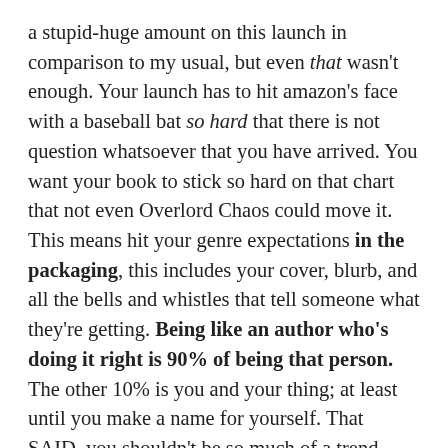a stupid-huge amount on this launch in comparison to my usual, but even that wasn't enough. Your launch has to hit amazon's face with a baseball bat so hard that there is not question whatsoever that you have arrived. You want your book to stick so hard on that chart that not even Overlord Chaos could move it. This means hit your genre expectations in the packaging, this includes your cover, blurb, and all the bells and whistles that tell someone what they're getting. Being like an author who's doing it right is 90% of being that person. The other 10% is you and your thing; at least until you make a name for yourself. That SAID, you shouldn't be so much of a trend writer if you want to be a lasting influence on the literary landscape; most of the folks who chase "what's hot" are doing it specifically for the money. That's not what you're here for, and that's not what